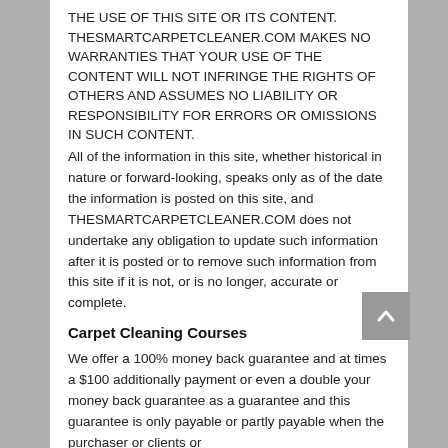THE USE OF THIS SITE OR ITS CONTENT. THESMARTCARPETCLEANER.COM MAKES NO WARRANTIES THAT YOUR USE OF THE CONTENT WILL NOT INFRINGE THE RIGHTS OF OTHERS AND ASSUMES NO LIABILITY OR RESPONSIBILITY FOR ERRORS OR OMISSIONS IN SUCH CONTENT. All of the information in this site, whether historical in nature or forward-looking, speaks only as of the date the information is posted on this site, and THESMARTCARPETCLEANER.COM does not undertake any obligation to update such information after it is posted or to remove such information from this site if it is not, or is no longer, accurate or complete.
Carpet Cleaning Courses
We offer a 100% money back guarantee and at times a $100 additionally payment or even a double your money back guarantee as a guarantee and this guarantee is only payable or partly payable when the purchaser or clients or